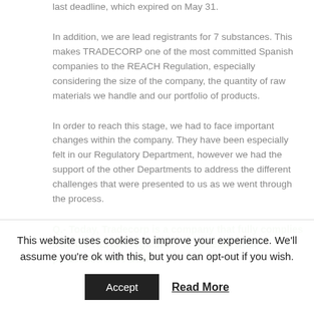last deadline, which expired on May 31.
In addition, we are lead registrants for 7 substances. This makes TRADECORP one of the most committed Spanish companies to the REACH Regulation, especially considering the size of the company, the quantity of raw materials we handle and our portfolio of products.
In order to reach this stage, we had to face important changes within the company. They have been especially felt in our Regulatory Department, however we had the support of the other Departments to address the different challenges that were presented to us as we went through the process.
Q.- Today, Tradecorp is a company that fully complies with the REACH regulation. In general, what processes have been
This website uses cookies to improve your experience. We'll assume you're ok with this, but you can opt-out if you wish.